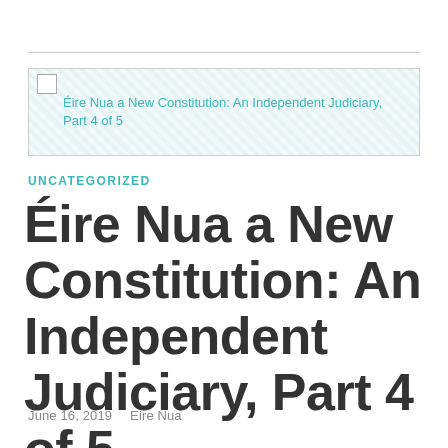[Figure (other): Banner image placeholder showing broken image icon with alt text: Éire Nua a New Constitution: An Independent Judiciary, Part 4 of 5]
UNCATEGORIZED
Éire Nua a New Constitution: An Independent Judiciary, Part 4 of 5
June 16, 2019   Eire Nua